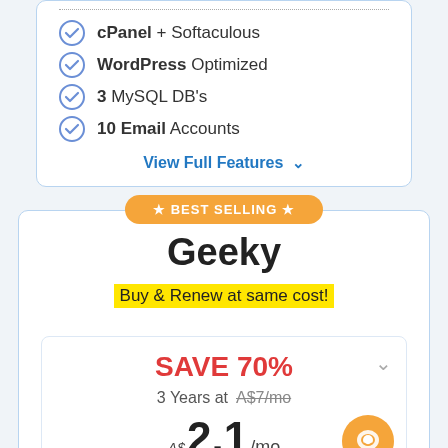cPanel + Softaculous
WordPress Optimized
3 MySQL DB's
10 Email Accounts
View Full Features ˅
★ BEST SELLING ★
Geeky
Buy & Renew at same cost!
SAVE 70%
3 Years at A$7/mo
A$ 2.1 /mo